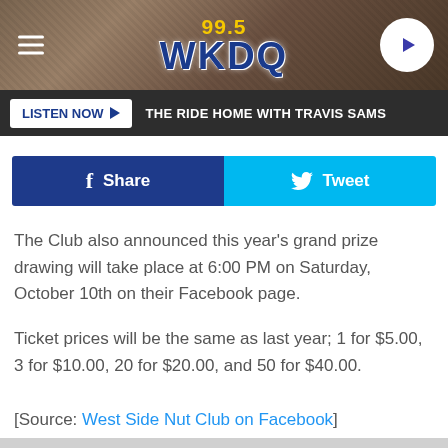99.5 WKDQ
LISTEN NOW ▶  THE RIDE HOME WITH TRAVIS SAMS
Share  Tweet
The Club also announced this year's grand prize drawing will take place at 6:00 PM on Saturday, October 10th on their Facebook page.
Ticket prices will be the same as last year; 1 for $5.00, 3 for $10.00, 20 for $20.00, and 50 for $40.00.
[Source: West Side Nut Club on Facebook]